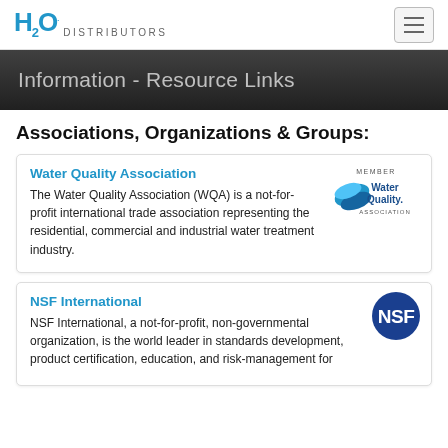H2O Distributors
Information - Resource Links
Associations, Organizations & Groups:
Water Quality Association
The Water Quality Association (WQA) is a not-for-profit international trade association representing the residential, commercial and industrial water treatment industry.
[Figure (logo): Water Quality Association Member logo with wave graphic]
NSF International
NSF International, a not-for-profit, non-governmental organization, is the world leader in standards development, product certification, education, and risk-management for public health protection.
[Figure (logo): NSF International circular blue logo]